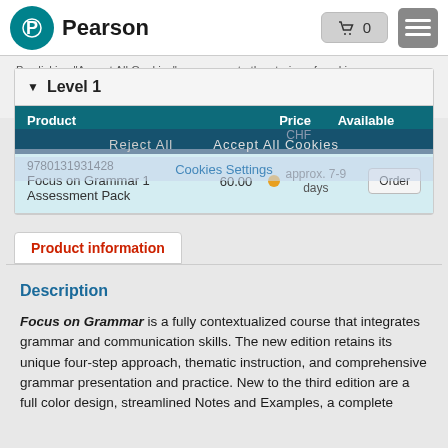Pearson | Cart 0
By clicking "Accept All Cookies", you agree to the storing of cookies on your device to enhance site navigation, analyze site usage, and assist in our marketing efforts.
Level 1
| Product | Price CHF | Available |
| --- | --- | --- |
| 9780131931428
Focus on Grammar 1 Assessment Pack | 60.00 | approx. 7-9 days |
Reject All   Accept All Cookies
Cookies Settings
Product information
Description
Focus on Grammar is a fully contextualized course that integrates grammar and communication skills. The new edition retains its unique four-step approach, thematic instruction, and comprehensive grammar presentation and practice. New to the third edition are a full color design, streamlined Notes and Examples, a complete